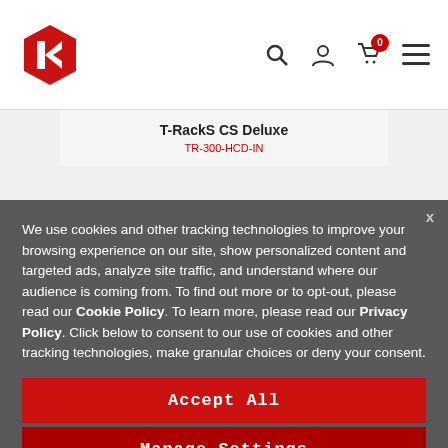[Figure (logo): IK Multimedia hexagonal logo in red and white]
T-RackS CS Deluxe
TR-300-HCD-IN
We use cookies and other tracking technologies to improve your browsing experience on our site, show personalized content and targeted ads, analyze site traffic, and understand where our audience is coming from. To find out more or to opt-out, please read our Cookie Policy. To learn more, please read our Privacy Policy. Click below to consent to our use of cookies and other tracking technologies, make granular choices or deny your consent.
Accept All
Manage Settings
SPECIAL OFFERS
Deny All
THIS MONTH